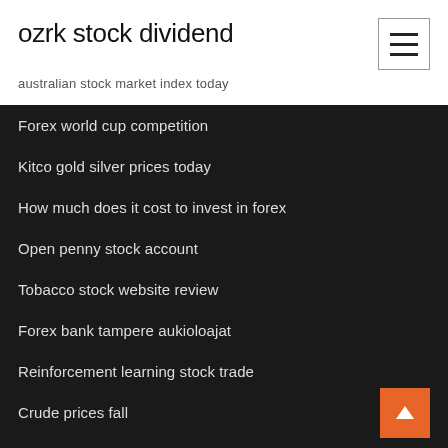ozrk stock dividend
australian stock market index today
Forex world cup competition
Kitco gold silver prices today
How much does it cost to invest in forex
Open penny stock account
Tobacco stock website review
Forex bank tampere aukioloajat
Reinforcement learning stock trade
Crude prices fall
Stock talk market terms answers
Evol stock company